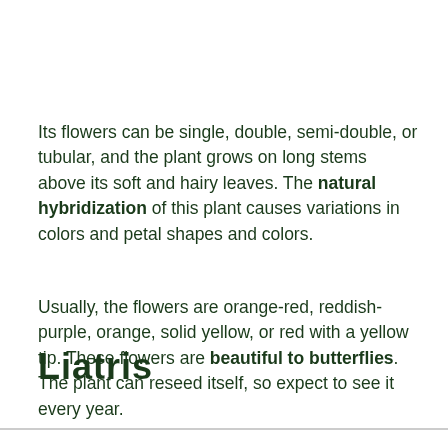Its flowers can be single, double, semi-double, or tubular, and the plant grows on long stems above its soft and hairy leaves. The natural hybridization of this plant causes variations in colors and petal shapes and colors.
Usually, the flowers are orange-red, reddish-purple, orange, solid yellow, or red with a yellow tip. These flowers are beautiful to butterflies. The plant can reseed itself, so expect to see it every year.
Liatris